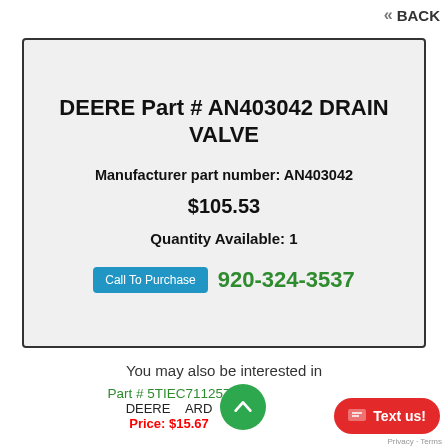BACK
DEERE Part # AN403042 DRAIN VALVE
Manufacturer part number: AN403042
$105.53
Quantity Available: 1
Call To Purchase   920-324-3537
You may also be interested in
Part # 5TIEC711257
DEERE ARD
Price: $15.67